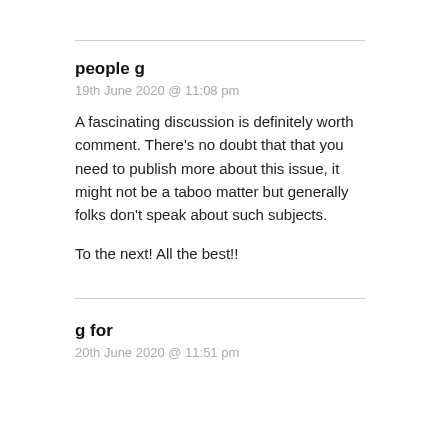people g
19th June 2020 @ 11:08 pm
A fascinating discussion is definitely worth comment. There's no doubt that that you need to publish more about this issue, it might not be a taboo matter but generally folks don't speak about such subjects.

To the next! All the best!!
g for
20th June 2020 @ 11:51 pm